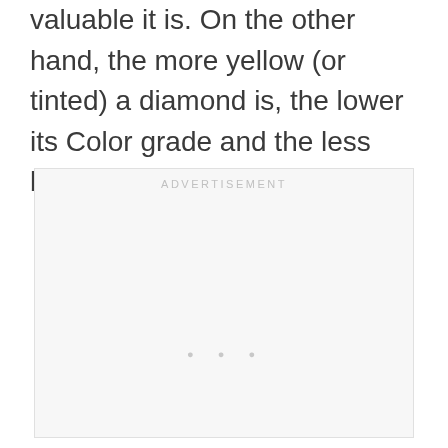valuable it is. On the other hand, the more yellow (or tinted) a diamond is, the lower its Color grade and the less beautiful it is.
[Figure (other): Advertisement placeholder box with 'ADVERTISEMENT' label centered at top and three small dots centered near bottom]